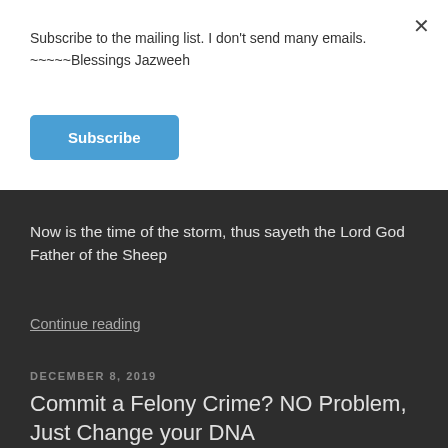Subscribe to the mailing list. I don't send many emails. ~~~~~Blessings Jazweeh
Subscribe
×
Now is the time of the storm, thus sayeth the Lord God Father of the Sheep
Continue reading
DECEMBER 8, 2019
Commit a Felony Crime? NO Problem, Just Change your DNA